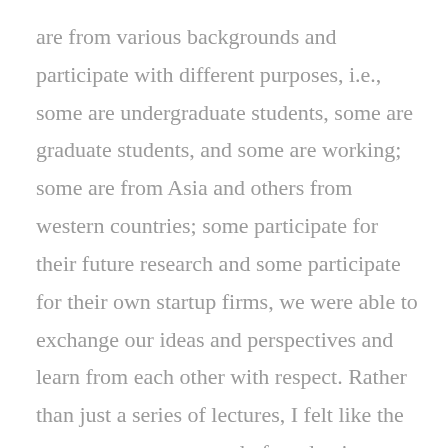are from various backgrounds and participate with different purposes, i.e., some are undergraduate students, some are graduate students, and some are working; some are from Asia and others from western countries; some participate for their future research and some participate for their own startup firms, we were able to exchange our ideas and perspectives and learn from each other with respect. Rather than just a series of lectures, I felt like the program was composed of academic seminars that had a global outlook, through which international networks between the participants could be established.

Therefore, I not only gained a lot from the well-